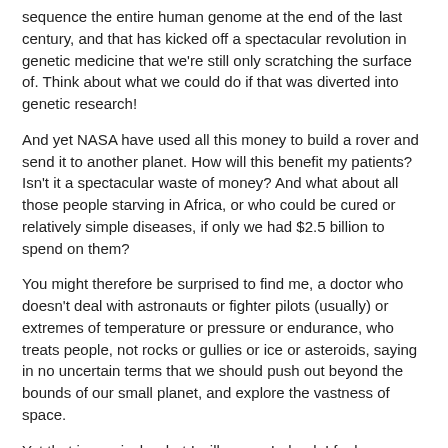sequence the entire human genome at the end of the last century, and that has kicked off a spectacular revolution in genetic medicine that we're still only scratching the surface of. Think about what we could do if that was diverted into genetic research!
And yet NASA have used all this money to build a rover and send it to another planet. How will this benefit my patients? Isn't it a spectacular waste of money? And what about all those people starving in Africa, or who could be cured or relatively simple diseases, if only we had $2.5 billion to spend on them?
You might therefore be surprised to find me, a doctor who doesn't deal with astronauts or fighter pilots (usually) or extremes of temperature or pressure or endurance, who treats people, not rocks or gullies or ice or asteroids, saying in no uncertain terms that we should push out beyond the bounds of our small planet, and explore the vastness of space.
Yet that is precisely what I will argue. Indeed, I feel very